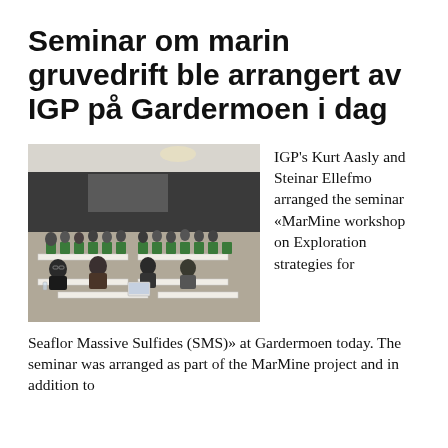Seminar om marin gruvedrift ble arrangert av IGP på Gardermoen i dag
[Figure (photo): Conference room with many attendees seated at tables with green chairs, listening to a presentation. The room has a dark wall at the back.]
IGP's Kurt Aasly and Steinar Ellefmo arranged the seminar «MarMine workshop on Exploration strategies for Seaflor Massive Sulfides (SMS)» at Gardermoen today. The seminar was arranged as part of the MarMine project and in addition to